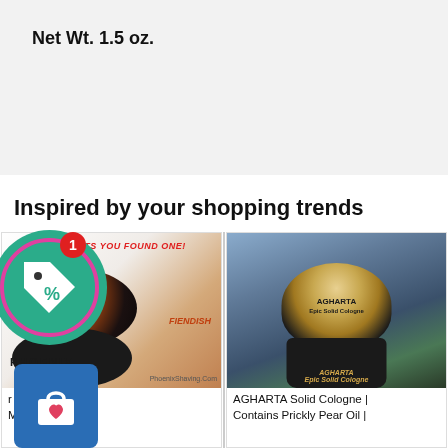Net Wt. 1.5 oz.
Inspired by your shopping trends
[Figure (photo): Phoenix Artisan Accoutrements shaving soap jar with colorful design and CONGRATS YOU FOUND ONE! text, with coupon badge overlay showing % tag icon with notification badge showing 1, and blue shopping bag icon]
r - Secret Menu Mash-Up Soap!
[Figure (photo): AGHARTA Epic Solid Cologne jar with gold lid against fantasy landscape background]
AGHARTA Solid Cologne | Contains Prickly Pear Oil |